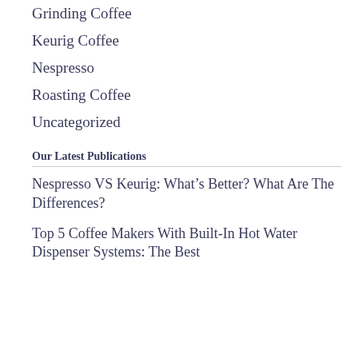Grinding Coffee
Keurig Coffee
Nespresso
Roasting Coffee
Uncategorized
Our Latest Publications
Nespresso VS Keurig: What’s Better? What Are The Differences?
Top 5 Coffee Makers With Built-In Hot Water Dispenser Systems: The Best